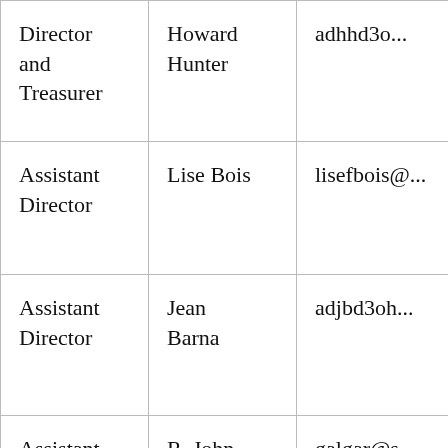| Role | Name | Email |
| --- | --- | --- |
| Director and Treasurer | Howard Hunter | adhhd3o... |
| Assistant Director | Lise Bois | lisefbois@... |
| Assistant Director | Jean Barna | adjbd3oh... |
| Assistant Director | R. John Garside | galgar@s... |
| Past | Penny |  |